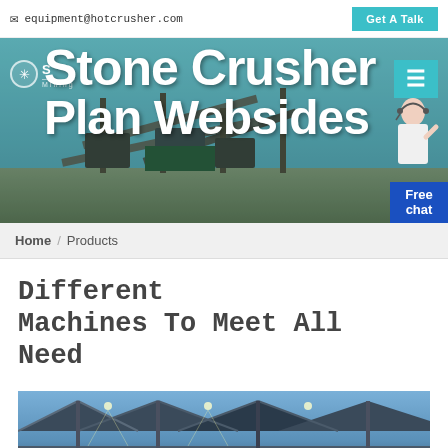equipment@hotcrusher.com  Get A Talk
[Figure (screenshot): Hero banner showing stone crusher mining plant with large white text overlay reading 'Stone Crusher Plan Websides', teal navigation bar with logo, hamburger menu, and chat agent]
Home / Products
Different Machines To Meet All Need
[Figure (photo): Interior photo of a factory/industrial building showing structural steel beams and lighting]